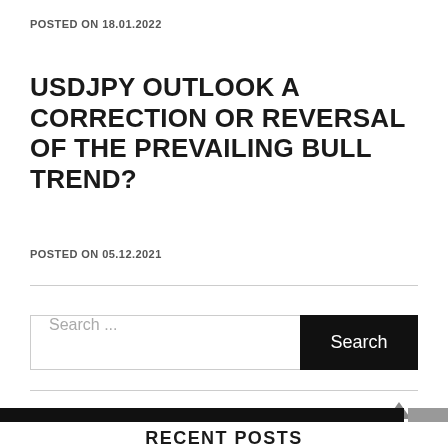POSTED ON 18.01.2022
USDJPY OUTLOOK A CORRECTION OR REVERSAL OF THE PREVAILING BULL TREND?
POSTED ON 05.12.2021
Search ...
RECENT POSTS